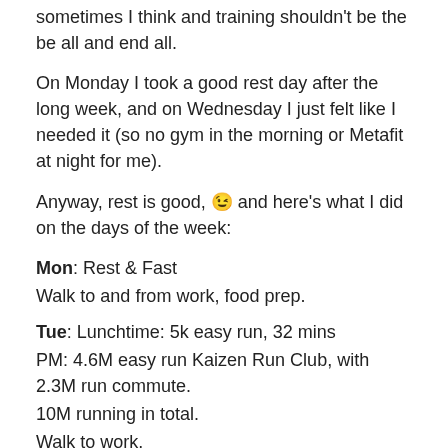sometimes I think and training shouldn't be the be all and end all.
On Monday I took a good rest day after the long week, and on Wednesday I just felt like I needed it (so no gym in the morning or Metafit at night for me).
Anyway, rest is good, 😉 and here's what I did on the days of the week:
Mon: Rest & Fast
Walk to and from work, food prep.
Tue: Lunchtime: 5k easy run, 32 mins
PM: 4.6M easy run Kaizen Run Club, with 2.3M run commute.
10M running in total.
Walk to work.